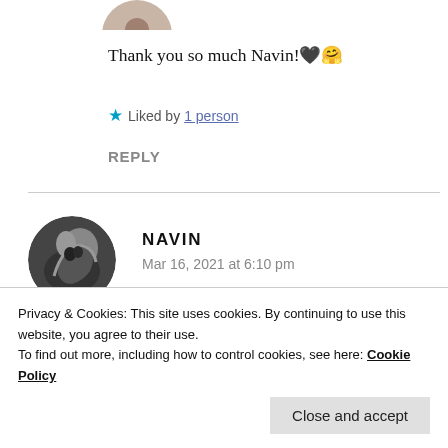[Figure (photo): Partial circular avatar image at top, cropped at top edge]
Thank you so much Navin!🖤🤗
★ Liked by 1 person
REPLY
[Figure (photo): Black and white circular avatar photo of Navin, showing face and long hair]
NAVIN
Mar 16, 2021 at 6:10 pm
Privacy & Cookies: This site uses cookies. By continuing to use this website, you agree to their use.
To find out more, including how to control cookies, see here: Cookie Policy
Close and accept